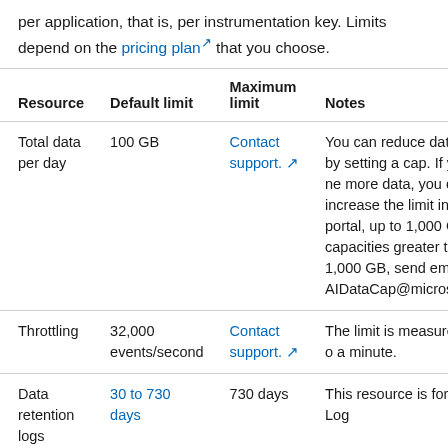per application, that is, per instrumentation key. Limits depend on the pricing plan that you choose.
| Resource | Default limit | Maximum limit | Notes |
| --- | --- | --- | --- |
| Total data per day | 100 GB | Contact support. | You can reduce data by setting a cap. If you ne more data, you can increase the limit in the portal, up to 1,000 GB. capacities greater than 1,000 GB, send email t AIDataCap@microsoft. |
| Throttling | 32,000 events/second | Contact support. | The limit is measured o a minute. |
| Data retention logs | 30 to 730 days | 730 days | This resource is for Log |